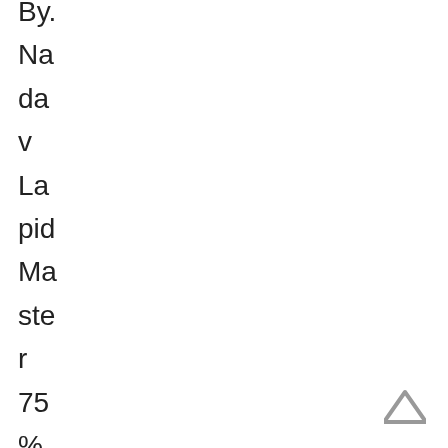By. Nadav Lapid Master 75% #41 Critics Arran
[Figure (other): Up arrow / caret navigation icon in grey, positioned bottom-right]